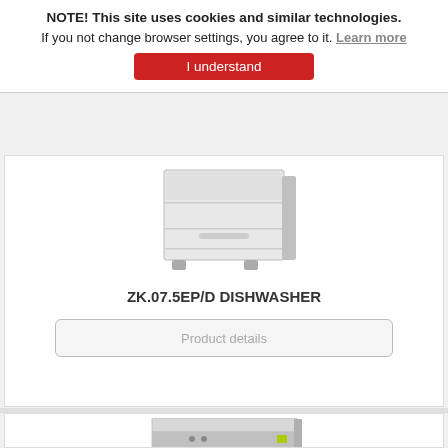NOTE! This site uses cookies and similar technologies.
If you not change browser settings, you agree to it. Learn more
I understand
[Figure (photo): ZK.07.5EP/D dishwasher appliance - white/stainless steel undercounter unit]
ZK.07.5EP/D DISHWASHER
Product details
[Figure (photo): Second dishwasher appliance - stainless steel undercounter unit with control panel visible at top]